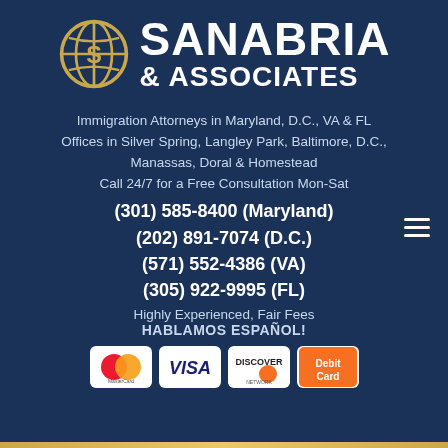[Figure (logo): Sanabria & Associates logo: gold globe icon beside firm name in white bold text]
Immigration Attorneys in Maryland, D.C., VA & FL
Offices in Silver Spring, Langley Park, Baltimore, D.C.,
Manassas, Doral & Homestead
Call 24/7 for a Free Consultation Mon-Sat
(301) 585-8400 (Maryland)
(202) 891-7074 (D.C.)
(571) 552-4386 (VA)
(305) 922-9995 (FL)
Highly Experienced, Fair Fees
HABLAMOS ESPAÑOL!
[Figure (other): Payment method icons: MasterCard, VISA, Discover, Debit Card]